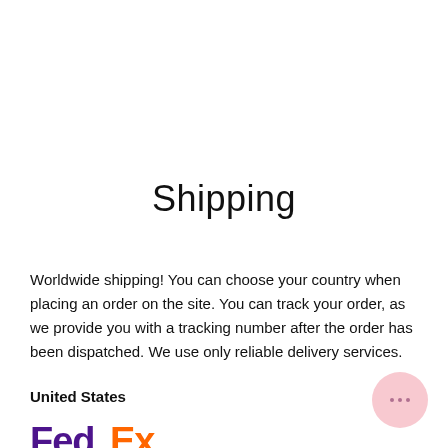Shipping
Worldwide shipping! You can choose your country when placing an order on the site. You can track your order, as we provide you with a tracking number after the order has been dispatched. We use only reliable delivery services.
United States
[Figure (logo): FedEx logo partially visible at bottom of page]